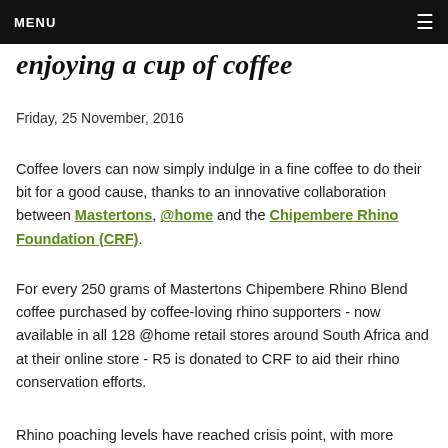MENU ≡
enjoying a cup of coffee
Friday, 25 November, 2016
Coffee lovers can now simply indulge in a fine coffee to do their bit for a good cause, thanks to an innovative collaboration between Mastertons, @home and the Chipembere Rhino Foundation (CRF).
For every 250 grams of Mastertons Chipembere Rhino Blend coffee purchased by coffee-loving rhino supporters - now available in all 128 @home retail stores around South Africa and at their online store - R5 is donated to CRF to aid their rhino conservation efforts.
Rhino poaching levels have reached crisis point, with more